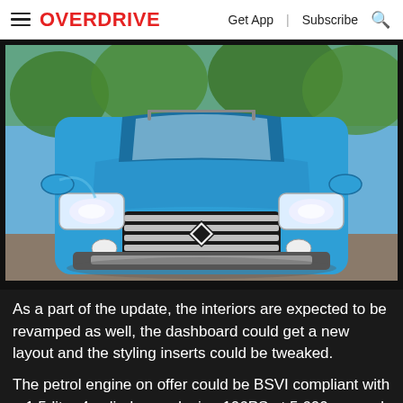OVERDRIVE | Get App | Subscribe
[Figure (photo): Front view of a blue Renault Duster SUV parked outdoors, showing the distinctive Renault diamond logo on the grille, headlights, and chrome accents]
As a part of the update, the interiors are expected to be revamped as well, the dashboard could get a new layout and the styling inserts could be tweaked.
The petrol engine on offer could be BSVI compliant with a 1.5-litre 4-cylinder producing 106PS at 5,600rpm and